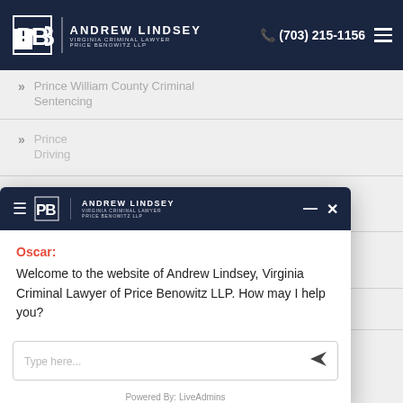[Figure (screenshot): Navigation bar for Andrew Lindsey Virginia Criminal Lawyer Price Benowitz LLP with phone number (703) 215-1156 and hamburger menu icon]
Prince William County Criminal Sentencing
Prince [William County] Driving...
Prince [William County] Violence...
Prince [William County] Lawyer...
Prince...
[Figure (screenshot): Chat widget overlay with Andrew Lindsey Virginia Criminal Lawyer Price Benowitz LLP header. Oscar chatbot message: Welcome to the website of Andrew Lindsey, Virginia Criminal Lawyer of Price Benowitz LLP. How may I help you? Input field with 'Type here...' placeholder and send button. Powered By: LiveAdmins footer.]